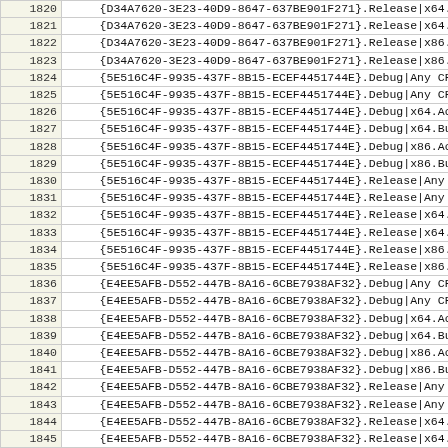| line | code |
| --- | --- |
| 1820 | {D34A7620-3E23-40D9-8647-637BE901F271}.Release|x64.Build... |
| 1821 | {D34A7620-3E23-40D9-8647-637BE901F271}.Release|x64.Build |
| 1822 | {D34A7620-3E23-40D9-8647-637BE901F271}.Release|x86.Activ |
| 1823 | {D34A7620-3E23-40D9-8647-637BE901F271}.Release|x86.Build |
| 1824 | {5E516C4F-9935-437F-8B15-ECEF4451744E}.Debug|Any CPU.Act |
| 1825 | {5E516C4F-9935-437F-8B15-ECEF4451744E}.Debug|Any CPU.Bui |
| 1826 | {5E516C4F-9935-437F-8B15-ECEF4451744E}.Debug|x64.ActiveC |
| 1827 | {5E516C4F-9935-437F-8B15-ECEF4451744E}.Debug|x64.Build.0 |
| 1828 | {5E516C4F-9935-437F-8B15-ECEF4451744E}.Debug|x86.ActiveC |
| 1829 | {5E516C4F-9935-437F-8B15-ECEF4451744E}.Debug|x86.Build.0 |
| 1830 | {5E516C4F-9935-437F-8B15-ECEF4451744E}.Release|Any CPU.A |
| 1831 | {5E516C4F-9935-437F-8B15-ECEF4451744E}.Release|Any CPU.B |
| 1832 | {5E516C4F-9935-437F-8B15-ECEF4451744E}.Release|x64.Activ |
| 1833 | {5E516C4F-9935-437F-8B15-ECEF4451744E}.Release|x64.Build |
| 1834 | {5E516C4F-9935-437F-8B15-ECEF4451744E}.Release|x86.Activ |
| 1835 | {5E516C4F-9935-437F-8B15-ECEF4451744E}.Release|x86.Build |
| 1836 | {E4EE5AFB-D552-447B-8A16-6CBE7938AF32}.Debug|Any CPU.Act |
| 1837 | {E4EE5AFB-D552-447B-8A16-6CBE7938AF32}.Debug|Any CPU.Bui |
| 1838 | {E4EE5AFB-D552-447B-8A16-6CBE7938AF32}.Debug|x64.ActiveC |
| 1839 | {E4EE5AFB-D552-447B-8A16-6CBE7938AF32}.Debug|x64.Build.0 |
| 1840 | {E4EE5AFB-D552-447B-8A16-6CBE7938AF32}.Debug|x86.ActiveC |
| 1841 | {E4EE5AFB-D552-447B-8A16-6CBE7938AF32}.Debug|x86.Build.0 |
| 1842 | {E4EE5AFB-D552-447B-8A16-6CBE7938AF32}.Release|Any CPU.A |
| 1843 | {E4EE5AFB-D552-447B-8A16-6CBE7938AF32}.Release|Any CPU.B |
| 1844 | {E4EE5AFB-D552-447B-8A16-6CBE7938AF32}.Release|x64.Activ |
| 1845 | {E4EE5AFB-D552-447B-8A16-6CBE7938AF32}.Release|x64.Build |
| 1846 | {E4EE5AFB-D552-447B-8A16-6CBE7938AF32}.Release|x86.Activ |
| 1847 | {E4EE5AFB-D552-447B-8A16-6CBE7938AF32}.Release|x86.Bui... |